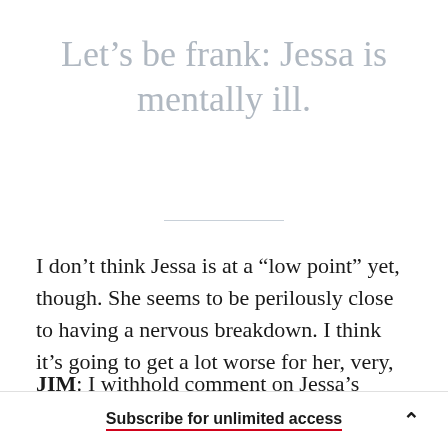Let’s be frank: Jessa is mentally ill.
I don’t think Jessa is at a “low point” yet, though. She seems to be perilously close to having a nervous breakdown. I think it’s going to get a lot worse for her, very, very soon.
JIM: I withhold comment on Jessa’s mental health.
Subscribe for unlimited access